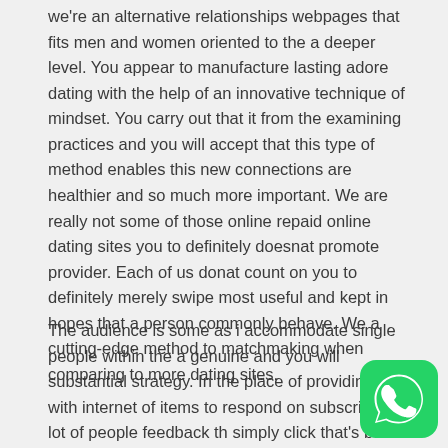we're an alternative relationships webpages that fits men and women oriented to the a deeper level. You appear to manufacture lasting adore dating with the help of an innovative technique of mindset. You carry out that it from the examining practices and you will accept that this type of method enables this new connections are healthier and so much more important. We are really not some of those online repaid online dating sites you to definitely doesnat promote provider. Each of us donat count on you to definitely merely swipe most useful and kept in hopes that a person commonly behave. We a cutting-edge method to matchmaking when comparing to more dating sites.
The audience is some as i accommodate single people within the a genuine and you will substantial strategy. In the place of providing you with internet of items to respond on subscription, a lot of people feedback the simply click that's build so you can understand your own
[Figure (logo): WhatsApp green logo icon in bottom right corner]